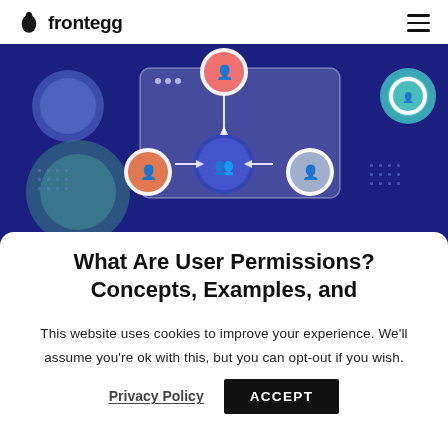frontegg
[Figure (illustration): Dark blue banner showing a user permissions management diagram with user icons connected by arrows in a hub-and-spoke pattern, overlaid on a browser window mockup. Decorative circles and dot patterns on navy/dark blue background.]
What Are User Permissions? Concepts, Examples, and
This website uses cookies to improve your experience. We'll assume you're ok with this, but you can opt-out if you wish.
Privacy Policy  ACCEPT